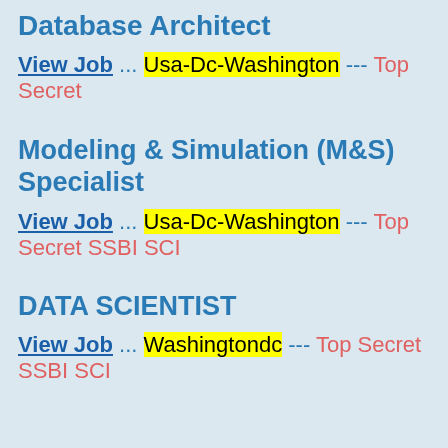Database Architect
View Job ... Usa-Dc-Washington --- Top Secret
Modeling & Simulation (M&S) Specialist
View Job ... Usa-Dc-Washington --- Top Secret SSBI SCI
DATA SCIENTIST
View Job ... Washingtondc --- Top Secret SSBI SCI